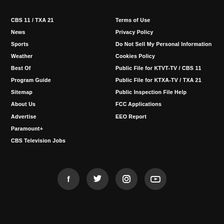CBS 11 / TXA 21
News
Sports
Weather
Best Of
Program Guide
Sitemap
About Us
Advertise
Paramount+
CBS Television Jobs
Terms of Use
Privacy Policy
Do Not Sell My Personal Information
Cookies Policy
Public File for KTVT-TV / CBS 11
Public File for KTXA-TV / TXA 21
Public Inspection File Help
FCC Applications
EEO Report
[Figure (infographic): Social media icons: Facebook, Twitter, Instagram, YouTube]